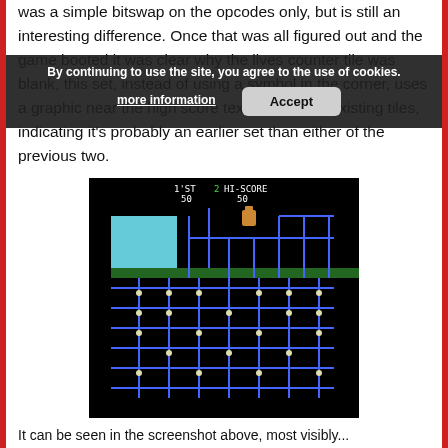was a simple bitswap on the opcodes only, but is still an interesting difference. Once that was all figured out and the game booted it was clear why the lives counter tile was blank, this set, instead of using a symbol in the corner, uses a graphic near the high score text made from existing tiles, indicating it's probably an earlier set than either of the previous two.
[Figure (screenshot): Arcade game screenshot showing a maze game with blue pipes/paths on black background. Score display at top shows '1'ST 50' and '2 HI-SCORE 50'. A cookie consent overlay appears at the bottom with text 'By continuing to use the site, you agree to the use of cookies.' and buttons 'more information' and 'Accept'.]
It can be seen in the screenshot above, most visibly...